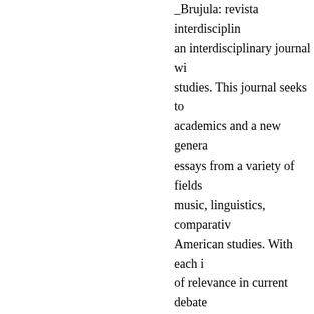_Brujula: revista interdisciplin... an interdisciplinary journal wi... studies. This journal seeks to... academics and a new genera... essays from a variety of fields... music, linguistics, comparativ... American studies. With each i... of relevance in current debate...
CFP: Safundi: Compa...
updated: Friday, August 22, ... Andrew Offenburger
Safundi, The Journal of South... encourages any scholar or pr... publication. Papers are being... (October 2003).
DUE DATE: September 7, 200...